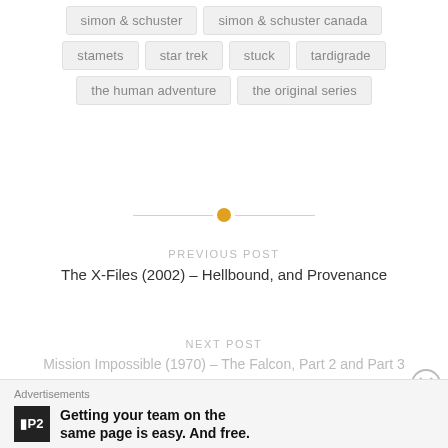simon & schuster
simon & schuster canada
stamets
star trek
stuck
tardigrade
the human adventure
the original series
PREVIOUS POST
The X-Files (2002) – Hellbound, and Provenance
NEXT POST
Mission Impossible (1970) – The Falcon, Part 2 and Part 3
Advertisements
Getting your team on the same page is easy. And free.